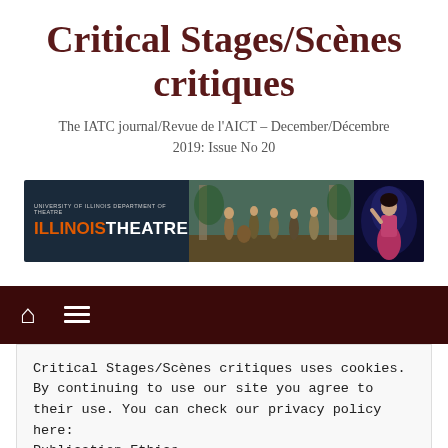Critical Stages/Scènes critiques
The IATC journal/Revue de l'AICT – December/Décembre 2019: Issue No 20
[Figure (photo): University of Illinois Department of Theatre – Illinois Theatre banner with two theatre performance scenes]
[Figure (other): Navigation bar with home icon and hamburger menu icon on dark maroon background]
Critical Stages/Scènes critiques uses cookies. By continuing to use our site you agree to their use. You can check our privacy policy here: Publication Ethics
Close and accept
[Figure (photo): Partial view of a person's face at the bottom of the page]